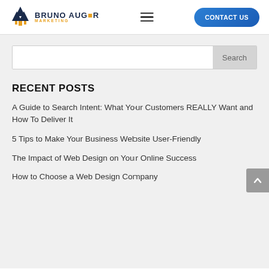Bruno Auger Marketing — CONTACT US
Search
RECENT POSTS
A Guide to Search Intent: What Your Customers REALLY Want and How To Deliver It
5 Tips to Make Your Business Website User-Friendly
The Impact of Web Design on Your Online Success
How to Choose a Web Design Company